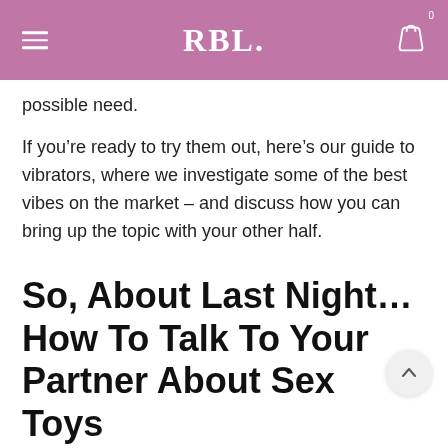RBL.
possible need.
If you’re ready to try them out, here’s our guide to vibrators, where we investigate some of the best vibes on the market – and discuss how you can bring up the topic with your other half.
So, About Last Night… How To Talk To Your Partner About Sex Toys
It can be a tricky topic, but start by talking about the positives in your relationship – how much you absolutely love the wild times you have between the sheets with